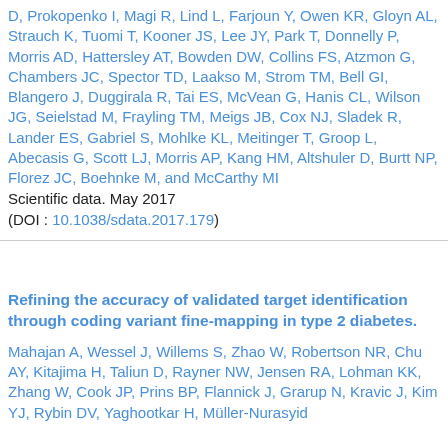D, Prokopenko I, Magi R, Lind L, Farjoun Y, Owen KR, Gloyn AL, Strauch K, Tuomi T, Kooner JS, Lee JY, Park T, Donnelly P, Morris AD, Hattersley AT, Bowden DW, Collins FS, Atzmon G, Chambers JC, Spector TD, Laakso M, Strom TM, Bell GI, Blangero J, Duggirala R, Tai ES, McVean G, Hanis CL, Wilson JG, Seielstad M, Frayling TM, Meigs JB, Cox NJ, Sladek R, Lander ES, Gabriel S, Mohlke KL, Meitinger T, Groop L, Abecasis G, Scott LJ, Morris AP, Kang HM, Altshuler D, Burtt NP, Florez JC, Boehnke M, and McCarthy MI
Scientific data. May 2017
(DOI : 10.1038/sdata.2017.179)
Refining the accuracy of validated target identification through coding variant fine-mapping in type 2 diabetes.
Mahajan A, Wessel J, Willems S, Zhao W, Robertson NR, Chu AY, Kitajima H, Taliun D, Rayner NW, Jensen RA, Lohman KK, Zhang W, Cook JP, Prins BP, Flannick J, Grarup N, Kravic J, Kim YJ, Rybin DV, Yaghootkar H, Müller-Nurasyid